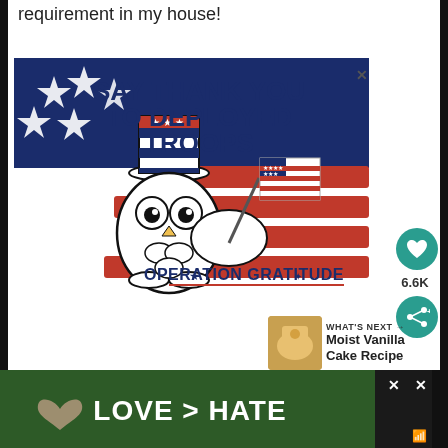requirement in my house!
[Figure (illustration): Operation Gratitude advertisement showing an illustrated owl holding an American flag, with a painted American flag background and text 'SAY THANK YOU TO DEPLOYED TROOPS' and 'OPERATION GRATITUDE' logo. An X close button is visible in the upper right of the ad.]
6.6K
WHAT'S NEXT → Moist Vanilla Cake Recipe
Ingredients
[Figure (screenshot): Bottom advertisement banner showing hands forming a heart shape with text 'LOVE > HATE' on dark background, with X close buttons visible.]